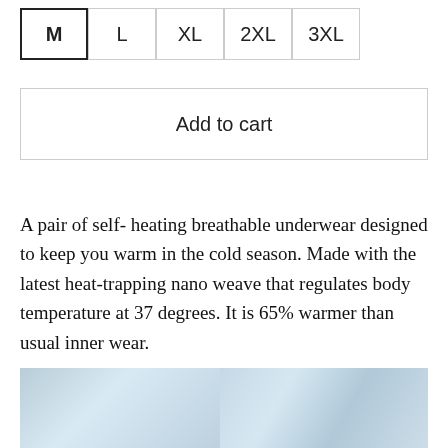| M | L | XL | 2XL | 3XL |
| --- | --- | --- | --- | --- |
Add to cart
A pair of self- heating breathable underwear designed to keep you warm in the cold season. Made with the latest heat-trapping nano weave that regulates body temperature at 37 degrees. It is 65% warmer than usual inner wear.
[Figure (photo): Product image showing thermal underwear in light blue tones, split into two panels side by side]